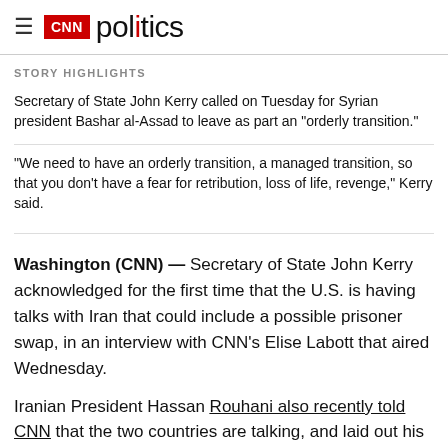CNN politics
STORY HIGHLIGHTS
Secretary of State John Kerry called on Tuesday for Syrian president Bashar al-Assad to leave as part an "orderly transition."
"We need to have an orderly transition, a managed transition, so that you don't have a fear for retribution, loss of life, revenge," Kerry said.
Washington (CNN) — Secretary of State John Kerry acknowledged for the first time that the U.S. is having talks with Iran that could include a possible prisoner swap, in an interview with CNN's Elise Labott that aired Wednesday.
Iranian President Hassan Rouhani also recently told CNN that the two countries are talking, and laid out his terms for such a deal. Iran and the U.S. recently